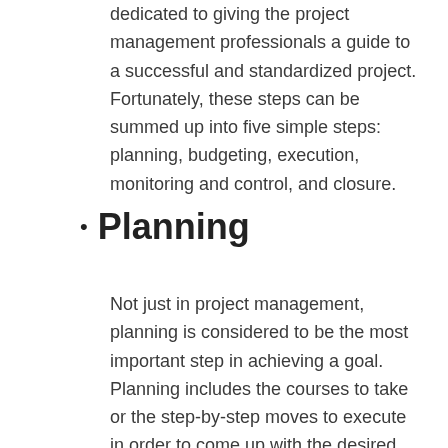The organization has developed a body solely dedicated to giving the project management professionals a guide to a successful and standardized project. Fortunately, these steps can be summed up into five simple steps: planning, budgeting, execution, monitoring and control, and closure.
Planning
Not just in project management, planning is considered to be the most important step in achieving a goal. Planning includes the courses to take or the step-by-step moves to execute in order to come up with the desired results. All other processes involved in project management should be included in the planning phase. It has often been tested and proven that a good project is a result of a good planning.